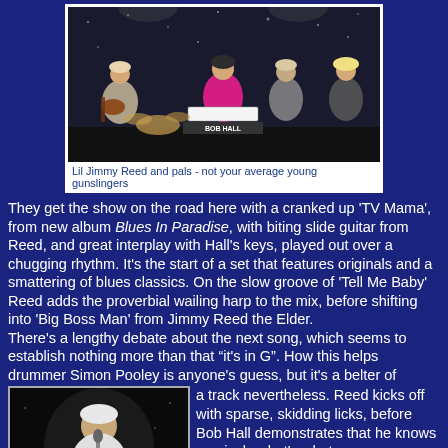[Figure (photo): Band performing on stage: guitarist on left, keyboard player in pink in center, another musician, and a blonde woman on right; 'BOB HALL' text visible on keyboard stand]
Lil Jimmy Reed and pals - not your average young gunslingers
They get the show on the road here with a cranked up ‘TV Mama’, from new album Blues In Paradise, with biting slide guitar from Reed, and great interplay with Hall’s keys, played out over a chugging rhythm. It’s the start of a set that features originals and a smattering of blues classics. On the slow groove of ‘Tell Me Baby’ Reed adds the proverbial wailing harp to the mix, before shifting into ‘Big Boss Man’ from Jimmy Reed the Elder.
There’s a lengthy debate about the next song, which seems to establish nothing more than that “it’s in G”. How this helps drummer Simon Pooley is anyone’s guess, but it’s a belter of a track nevertheless. Reed kicks off with sparse, skidding licks, before Bob Hall demonstrates that he knows precisely what’s what.
[Figure (photo): Close-up of a performer on stage, white-haired man in white shirt, singing or playing harmonica under stage lighting]